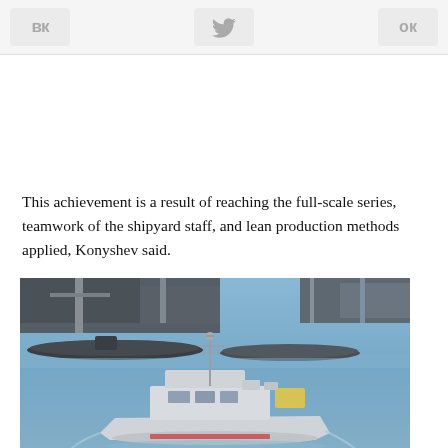VK  Twitter  OK
This achievement is a result of reaching the full-scale series, teamwork of the shipyard staff, and lean production methods applied, Konyshev said.
[Figure (photo): A military patrol or survey ship sailing in a harbor with industrial dock structures, cranes, and submarines visible in the background. The ship is gray with a communications mast, and the water is blue-gray.]